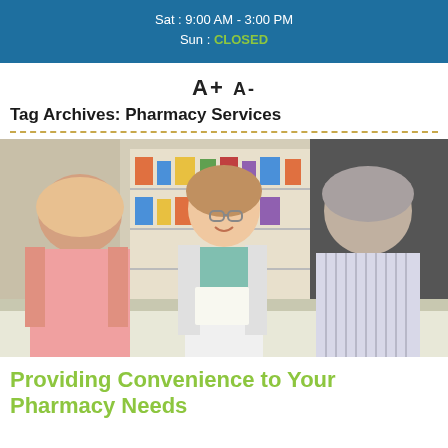Sat : 9:00 AM - 3:00 PM
Sun : CLOSED
A+ A-
Tag Archives: Pharmacy Services
[Figure (photo): A smiling pharmacist in a white coat handing a document to an elderly couple at a pharmacy counter, with shelves of medicine in the background.]
Providing Convenience to Your Pharmacy Needs